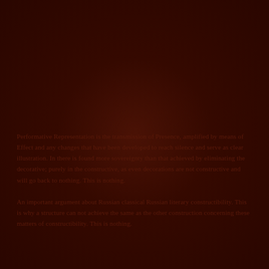Performative Representation is the transmission of Presence, amplified by means of Effect and any changes that have been developed to reach silence and serve as clear illustration. In there is found more sovereignty than that achieved by eliminating the decorative; purely in the constructive, as even decorations are not constructive and will go back to nothing. This is nothing.
An important argument about Russian classical Russian literary constructibility. This is why a structure can not achieve the same as the other construction concerning these matters of constructibility. This is nothing.